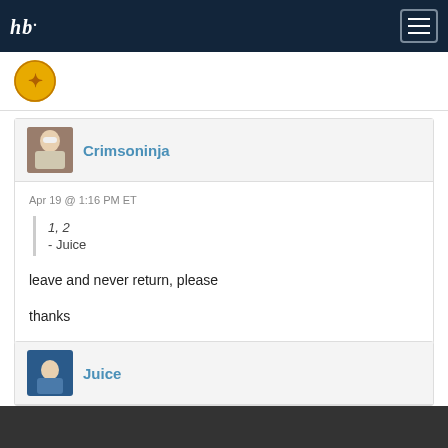hb. [navigation logo and hamburger menu]
[Figure (photo): Gold coin avatar of previous comment user]
Crimsoninja
Apr 19 @ 1:16 PM ET
1, 2
- Juice
leave and never return, please
thanks
Juice